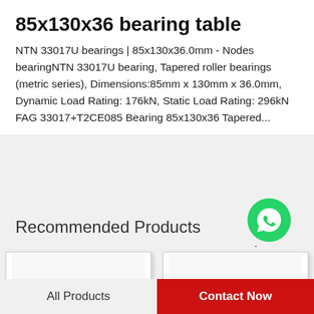85x130x36 bearing table
NTN 33017U bearings | 85x130x36.0mm - Nodes bearingNTN 33017U bearing, Tapered roller bearings (metric series), Dimensions:85mm x 130mm x 36.0mm, Dynamic Load Rating: 176kN, Static Load Rating: 296kN FAG 33017+T2CE085 Bearing 85x130x36 Tapered...
Recommended Products
[Figure (logo): WhatsApp green circle icon with phone handset]
WhatsApp Online
[Figure (photo): Product image showing multiple cylindrical metal bushings/sleeves in silver and bronze colors]
[Figure (photo): Product image showing metallic bearing rings/races in silver and gold colors]
All Products
Contact Now